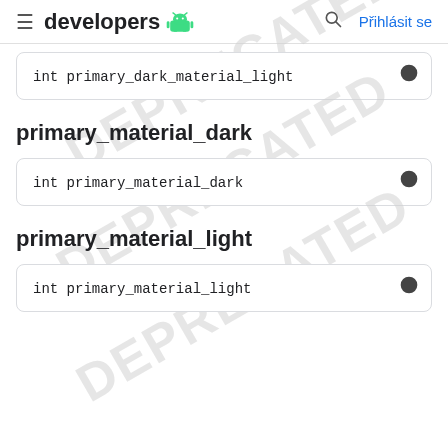≡ developers 🤖  🔍  Přihlásit se
int primary_dark_material_light
primary_material_dark
int primary_material_dark
primary_material_light
int primary_material_light